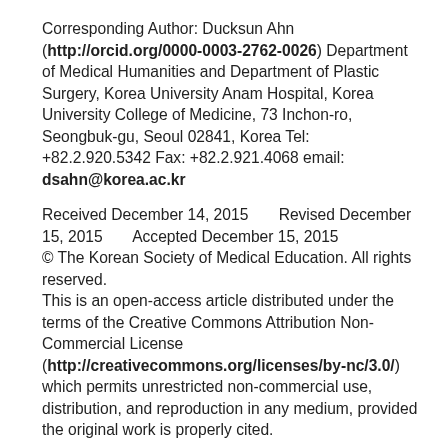Corresponding Author: Ducksun Ahn (http://orcid.org/0000-0003-2762-0026) Department of Medical Humanities and Department of Plastic Surgery, Korea University Anam Hospital, Korea University College of Medicine, 73 Inchon-ro, Seongbuk-gu, Seoul 02841, Korea Tel: +82.2.920.5342 Fax: +82.2.921.4068 email: dsahn@korea.ac.kr
Received December 14, 2015      Revised December 15, 2015      Accepted December 15, 2015
© The Korean Society of Medical Education. All rights reserved.
This is an open-access article distributed under the terms of the Creative Commons Attribution Non-Commercial License (http://creativecommons.org/licenses/by-nc/3.0/) which permits unrestricted non-commercial use, distribution, and reproduction in any medium, provided the original work is properly cited.
South Korea's medical education history is intertwined with its explosive economic growth. In the 1980s, the Korean government opened the medical education industry to the private sector. The desired results for the schools were twofold: (1) to meet the needs of the healthcare system with a growing economy; and (2) to generate positive economic...